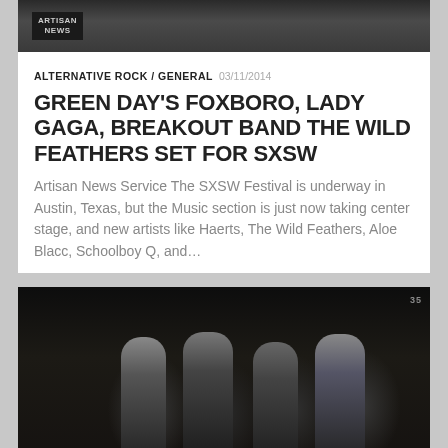[Figure (photo): Top partial image showing a person with Artisan News branding/logo visible]
ALTERNATIVE ROCK / GENERAL  03/11/2014
GREEN DAY'S FOXBORO, LADY GAGA, BREAKOUT BAND THE WILD FEATHERS SET FOR SXSW
Artisan News Service The SXSW Festival is underway in Austin, Texas, but the Music section is just now taking center stage, and new artists like Haerts, The Wild Feathers, Aloe Blacc, Schoolboy Q, and...
[Figure (photo): Photo of KISS band members in full makeup and costumes seated together]